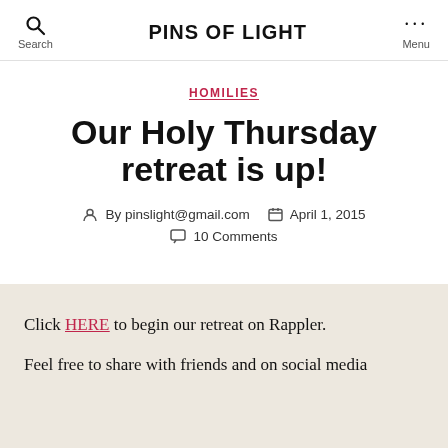PINS OF LIGHT
HOMILIES
Our Holy Thursday retreat is up!
By pinslight@gmail.com   April 1, 2015   10 Comments
Click HERE to begin our retreat on Rappler.
Feel free to share with friends and on social media